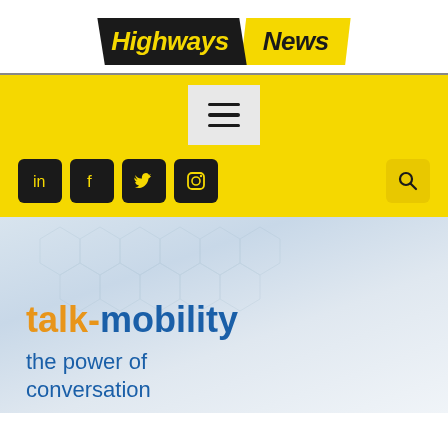[Figure (logo): Highways News logo with black parallelogram background containing yellow 'Highways' text and yellow parallelogram containing black 'News' text]
[Figure (screenshot): Website navigation bar in yellow with hamburger menu button, social media icons (LinkedIn, Facebook, Twitter, Instagram) and search icon, followed by a banner image for 'talk-mobility: the power of conversation']